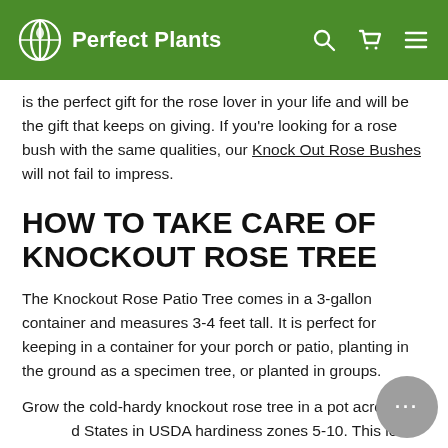Perfect Plants
is the perfect gift for the rose lover in your life and will be the gift that keeps on giving. If you're looking for a rose bush with the same qualities, our Knock Out Rose Bushes will not fail to impress.
HOW TO TAKE CARE OF KNOCKOUT ROSE TREE
The Knockout Rose Patio Tree comes in a 3-gallon container and measures 3-4 feet tall. It is perfect for keeping in a container for your porch or patio, planting in the ground as a specimen tree, or planted in groups.
Grow the cold-hardy knockout rose tree in a pot across the United States in USDA hardiness zones 5-10. This low maintenance rose variety is not picky and will tolerate a wide range of planting sites